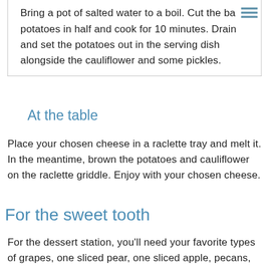Bring a pot of salted water to a boil. Cut the baby potatoes in half and cook for 10 minutes. Drain and set the potatoes out in the serving dish alongside the cauliflower and some pickles.
At the table
Place your chosen cheese in a raclette tray and melt it. In the meantime, brown the potatoes and cauliflower on the raclette griddle. Enjoy with your chosen cheese.
For the sweet tooth
For the dessert station, you'll need your favorite types of grapes, one sliced pear, one sliced apple, pecans, hazelnuts or walnuts, honey, and cheeses such as brie